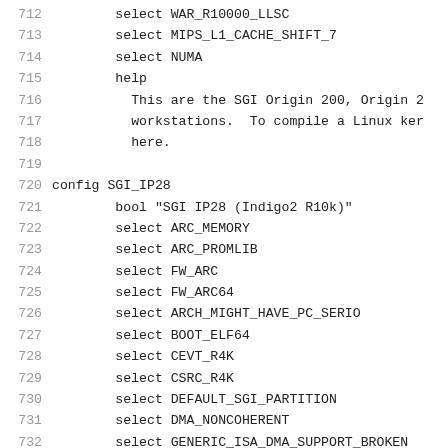712	select WAR_R10000_LLSC
713	select MIPS_L1_CACHE_SHIFT_7
714	select NUMA
715	help
716	  This are the SGI Origin 200, Origin 2
717	  workstations.  To compile a Linux ker
718	  here.
719	
720	config SGI_IP28
721		bool "SGI IP28 (Indigo2 R10k)"
722		select ARC_MEMORY
723		select ARC_PROMLIB
724		select FW_ARC
725		select FW_ARC64
726		select ARCH_MIGHT_HAVE_PC_SERIO
727		select BOOT_ELF64
728		select CEVT_R4K
729		select CSRC_R4K
730		select DEFAULT_SGI_PARTITION
731		select DMA_NONCOHERENT
732		select GENERIC_ISA_DMA_SUPPORT_BROKEN
733		select IRQ_MIPS_CPU